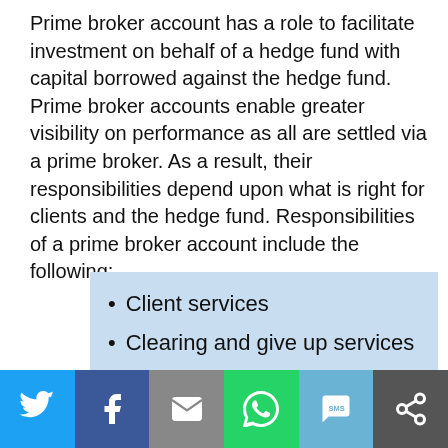Prime broker account has a role to facilitate investment on behalf of a hedge fund with capital borrowed against the hedge fund. Prime broker accounts enable greater visibility on performance as all are settled via a prime broker. As a result, their responsibilities depend upon what is right for clients and the hedge fund. Responsibilities of a prime broker account include the following:
Client services
Clearing and give up services
Risk management and financing
Social sharing bar: Twitter, Facebook, Email, WhatsApp, SMS, Other